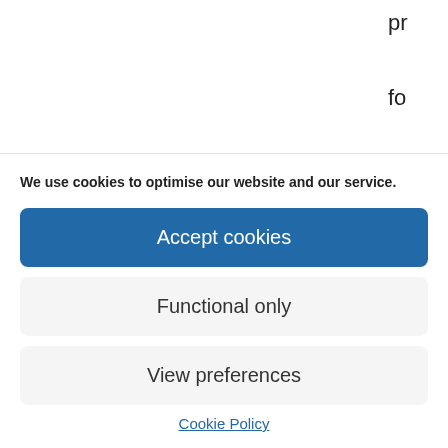pr fo ta ex au co
We use cookies to optimise our website and our service.
Accept cookies
Functional only
View preferences
Cookie Policy